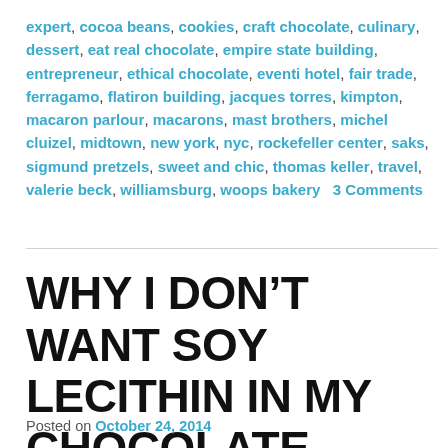expert, cocoa beans, cookies, craft chocolate, culinary, dessert, eat real chocolate, empire state building, entrepreneur, ethical chocolate, eventi hotel, fair trade, ferragamo, flatiron building, jacques torres, kimpton, macaron parlour, macarons, mast brothers, michel cluizel, midtown, new york, nyc, rockefeller center, saks, sigmund pretzels, sweet and chic, thomas keller, travel, valerie beck, williamsburg, woops bakery   3 Comments
WHY I DON'T WANT SOY LECITHIN IN MY CHOCOLATE
Posted on October 24, 2014